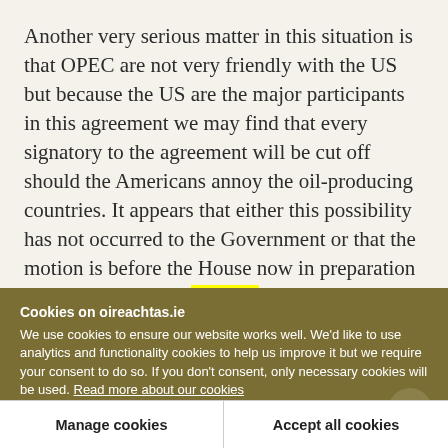Another very serious matter in this situation is that OPEC are not very friendly with the US but because the US are the major participants in this agreement we may find that every signatory to the agreement will be cut off should the Americans annoy the oil-producing countries. It appears that either this possibility has not occurred to the Government or that the motion is before the House now in preparation for the Minister for Finance's journey to Washington to try to raise some money. If this is a
Cookies on oireachtas.ie
We use cookies to ensure our website works well. We'd like to use analytics and functionality cookies to help us improve it but we require your consent to do so. If you don't consent, only necessary cookies will be used. Read more about our cookies
Manage cookies
Accept all cookies